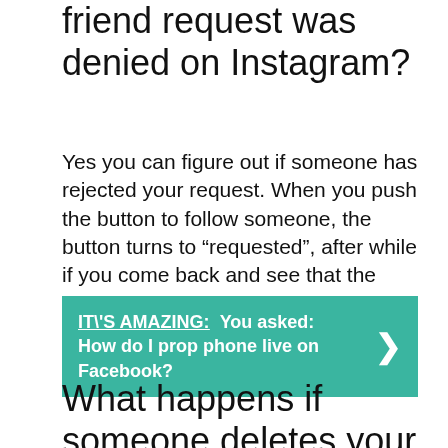friend request was denied on Instagram?
Yes you can figure out if someone has rejected your request. When you push the button to follow someone, the button turns to “requested”, after while if you come back and see that the button turns again to “follow and blue” it means that He/she has unfortunately rejected your follow request.
IT\'S AMAZING:  You asked: How do I prop phone live on Facebook?
What happens if someone deletes your follow request